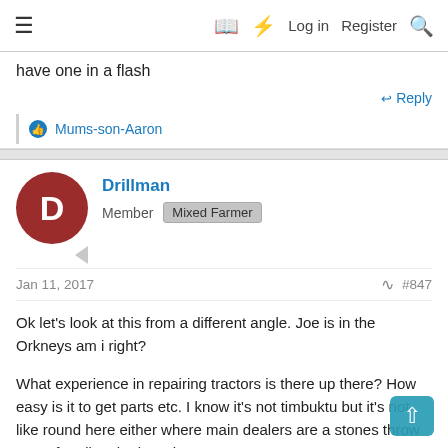≡  [book icon] [flash icon]  Log in  Register  [search icon]
have one in a flash
Reply
👍 Mums-son-Aaron
Drillman
Member  Mixed Farmer
Jan 11, 2017  #847
Ok let's look at this from a different angle. Joe is in the Orkneys am i right?

What experience in repairing tractors is there up there? How easy is it to get parts etc. I know it's not timbuktu but it's not like round here either where main dealers are a stones throw away for all major brands.